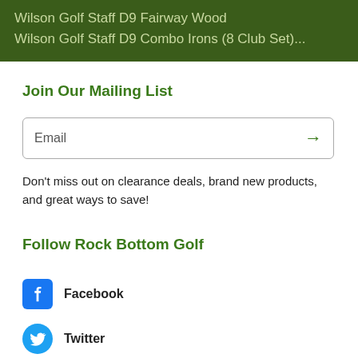Wilson Golf Staff D9 Fairway Wood
Wilson Golf Staff D9 Combo Irons (8 Club Set)...
Join Our Mailing List
Email
Don't miss out on clearance deals, brand new products, and great ways to save!
Follow Rock Bottom Golf
Facebook
Twitter